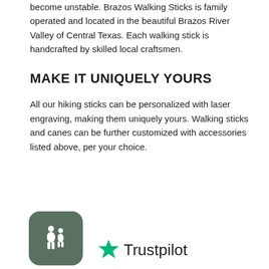become unstable. Brazos Walking Sticks is family operated and located in the beautiful Brazos River Valley of Central Texas. Each walking stick is handcrafted by skilled local craftsmen.
MAKE IT UNIQUELY YOURS
All our hiking sticks can be personalized with laser engraving, making them uniquely yours. Walking sticks and canes can be further customized with accessories listed above, per your choice.
[Figure (logo): Dark olive green rounded square app icon with two white human silhouette figures (adult and child)]
[Figure (logo): Trustpilot logo with green star and 'Trustpilot' text]